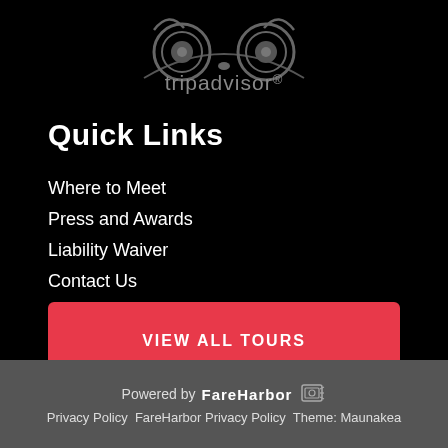[Figure (logo): TripAdvisor owl logo and wordmark in dark gray on black background]
Quick Links
Where to Meet
Press and Awards
Liability Waiver
Contact Us
VIEW ALL TOURS
Powered by FareHarbor  Privacy Policy FareHarbor Privacy Policy Theme: Maunakea